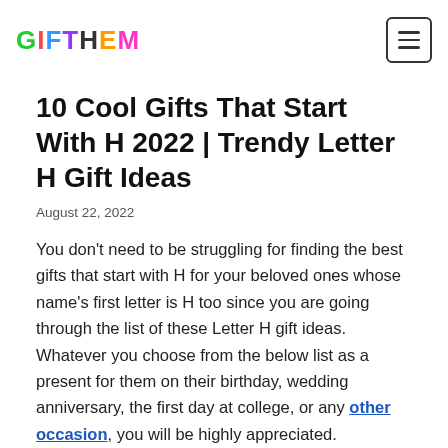GIFTHEM logo and navigation menu button
10 Cool Gifts That Start With H 2022 | Trendy Letter H Gift Ideas
August 22, 2022
You don't need to be struggling for finding the best gifts that start with H for your beloved ones whose name's first letter is H too since you are going through the list of these Letter H gift ideas. Whatever you choose from the below list as a present for them on their birthday, wedding anniversary, the first day at college, or any other occasion, you will be highly appreciated.